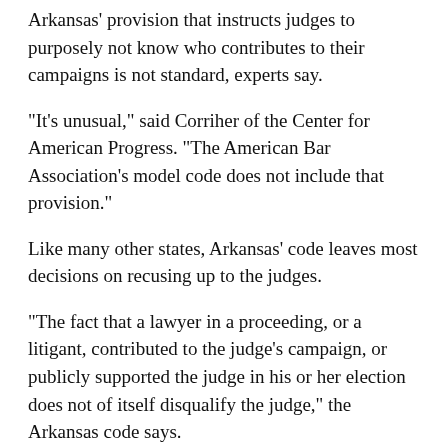Arkansas' provision that instructs judges to purposely not know who contributes to their campaigns is not standard, experts say.
"It's unusual," said Corriher of the Center for American Progress. "The American Bar Association's model code does not include that provision."
Like many other states, Arkansas' code leaves most decisions on recusing up to the judges.
"The fact that a lawyer in a proceeding, or a litigant, contributed to the judge's campaign, or publicly supported the judge in his or her election does not of itself disqualify the judge," the Arkansas code says.
"However, the size of contributions … and other factors known to the judge may raise questions as to the judge's impartiality," it says.
Another section of Arkansas' judicial ethics code seems to